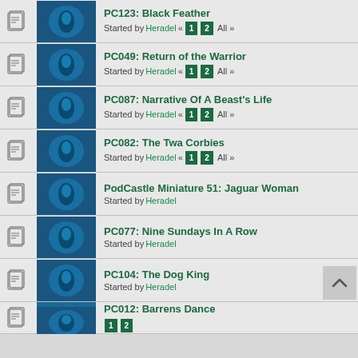PC123: Black Feather — Started by Heradel « 1 2 All »
PC049: Return of the Warrior — Started by Heradel « 1 2 All »
PC087: Narrative Of A Beast's Life — Started by Heradel « 1 2 All »
PC082: The Twa Corbies — Started by Heradel « 1 2 All »
PodCastle Miniature 51: Jaguar Woman — Started by Heradel
PC077: Nine Sundays In A Row — Started by Heradel
PC104: The Dog King — Started by Heradel
PC012: Barrens Dance